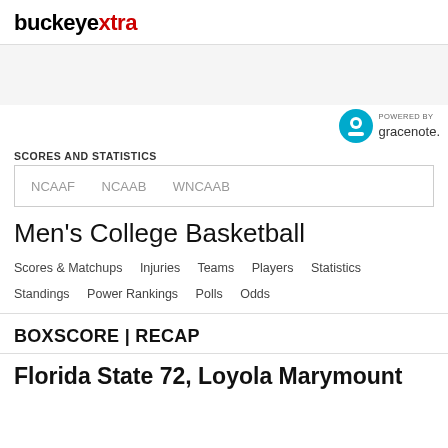buckeyextra
[Figure (other): Gray advertisement banner area]
[Figure (logo): Powered by Gracenote logo with teal circle icon]
SCORES AND STATISTICS
NCAAF   NCAAB   WNCAAB
Men's College Basketball
Scores & Matchups   Injuries   Teams   Players   Statistics   Standings   Power Rankings   Polls   Odds
BOXSCORE | RECAP
Florida State 72, Loyola Marymount